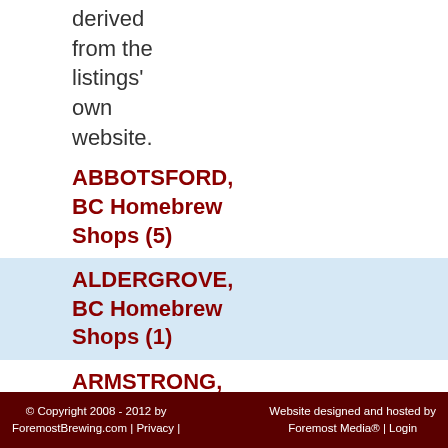derived from the listings' own website.
ABBOTSFORD, BC Homebrew Shops (5)
ALDERGROVE, BC Homebrew Shops (1)
ARMSTRONG, BC Homebrew Shops (1)
BALFOUR, BC Homebrew Shops (1)
© Copyright 2008 - 2012 by ForemostBrewing.com | Privacy | Website designed and hosted by Foremost Media® | Login